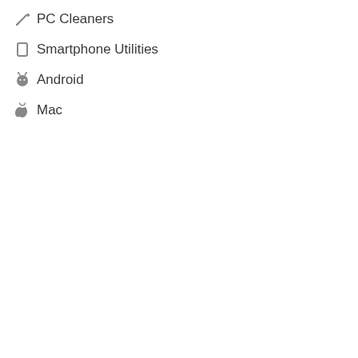PC Cleaners
Smartphone Utilities
Android
Mac